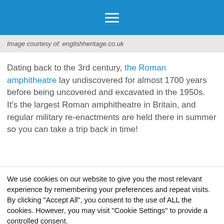≡ (hamburger menu icon)
Image courtesy of: englishheritage.co.uk
Dating back to the 3rd century, the Roman amphitheatre lay undiscovered for almost 1700 years before being uncovered and excavated in the 1950s. It's the largest Roman amphitheatre in Britain, and regular military re-enactments are held there in summer so you can take a trip back in time!
We use cookies on our website to give you the most relevant experience by remembering your preferences and repeat visits. By clicking "Accept All", you consent to the use of ALL the cookies. However, you may visit "Cookie Settings" to provide a controlled consent.